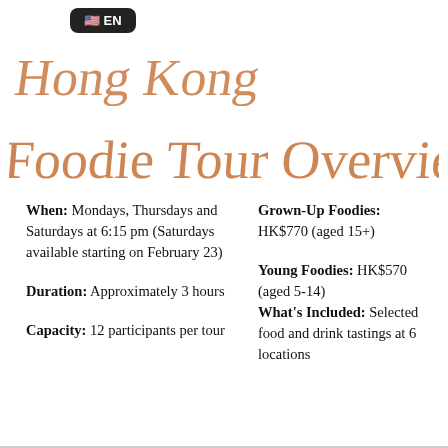[Figure (screenshot): EN language badge with US flag icon on dark background]
Foodie Tour Overview
When: Mondays, Thursdays and Saturdays at 6:15 pm (Saturdays available starting on February 23)
Duration: Approximately 3 hours
Capacity: 12 participants per tour
Grown-Up Foodies: HK$770 (aged 15+)
Young Foodies: HK$570 (aged 5-14)
What's Included: Selected food and drink tastings at 6 locations